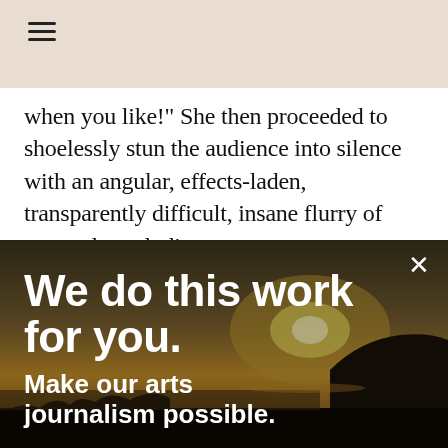☰
when you like!" She then proceeded to shoelessly stun the audience into silence with an angular, effects-laden, transparently difficult, insane flurry of strangely melodic
[Figure (photo): Sunset landscape with silhouetted coastline, rock formations, and dramatic sky used as background for a donation overlay]
We do this work for you.
Make our arts journalism possible.
DONATE TODAY